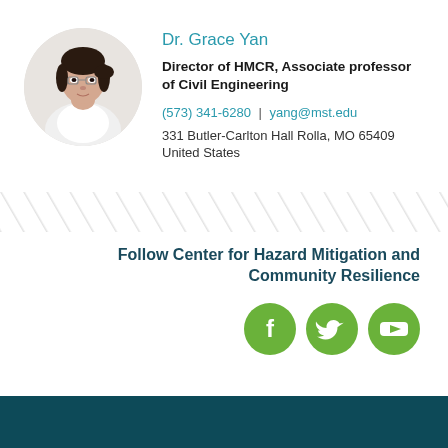[Figure (photo): Circular portrait photo of Dr. Grace Yan, an Asian woman with glasses and dark hair pulled back, wearing a white top, against a light background]
Dr. Grace Yan
Director of HMCR, Associate professor of Civil Engineering
(573) 341-6280  |  yang@mst.edu
331 Butler-Carlton Hall Rolla, MO 65409 United States
[Figure (illustration): Diagonal parallel stripe pattern divider line across the full width]
Follow Center for Hazard Mitigation and Community Resilience
[Figure (logo): Three green circular social media icons: Facebook (f), Twitter (bird), YouTube (play button)]